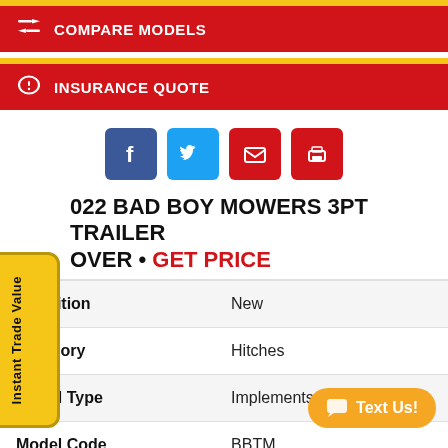COMPARE MODELS
INSURANCE QUOTE
[Figure (other): Social sharing icons: Facebook, Twitter, Email, Print]
2022 BAD BOY MOWERS 3PT TRAILER MOVER • GET PRICE
| Field | Value |
| --- | --- |
| Condition | New |
| Category | Hitches |
| Model Type | Implements |
| Model Code | BBTM |
| Color | Black |
[Figure (other): Instant Trade Value sidebar label]
Text Us!